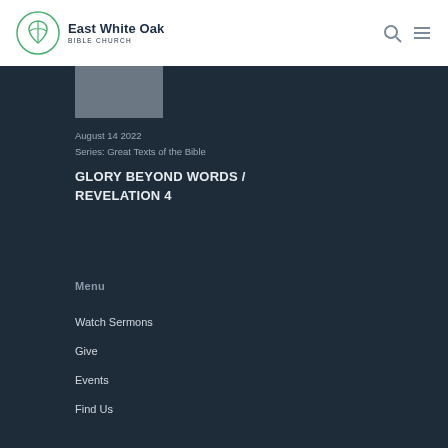East White Oak Bible Church
August 14 2022
Series: Great Texts of the Bible
GLORY BEYOND WORDS / REVELATION 4
Menu
Watch Sermons
Give
Events
Find Us